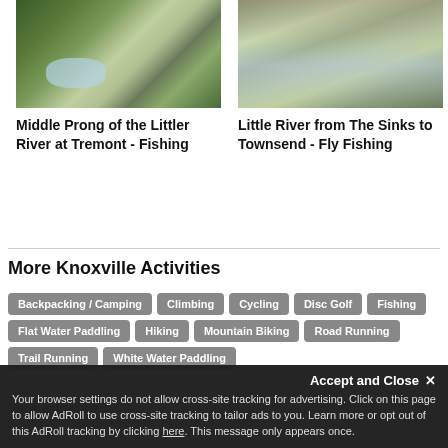[Figure (photo): Mountain stream with rocks and lush green forest vegetation at Tremont area]
Middle Prong of the Littler River at Tremont - Fishing
[Figure (photo): Little River with clear shallow water flowing over rocks with bare trees and green mossy boulders]
Little River from The Sinks to Townsend - Fly Fishing
More Knoxville Activities
Backpacking / Camping
Climbing
Cycling
Disc Golf
Fishing
Flat Water Paddling
Hiking
Mountain Biking
Road Running
Trail Running
White Water Paddling
View Knoxville
Accept and Close ✕
Your browser settings do not allow cross-site tracking for advertising. Click on this page to allow AdRoll to use cross-site tracking to tailor ads to you. Learn more or opt out of this AdRoll tracking by clicking here. This message only appears once.